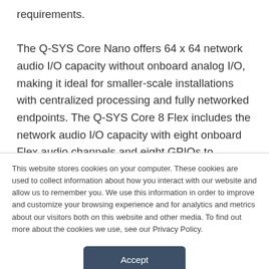requirements. The Q-SYS Core Nano offers 64 x 64 network audio I/O capacity without onboard analog I/O, making it ideal for smaller-scale installations with centralized processing and fully networked endpoints. The Q-SYS Core 8 Flex includes the network audio I/O capacity with eight onboard Flex audio channels and eight GPIOs to integrate analog I/O devices into
This website stores cookies on your computer. These cookies are used to collect information about how you interact with our website and allow us to remember you. We use this information in order to improve and customize your browsing experience and for analytics and metrics about our visitors both on this website and other media. To find out more about the cookies we use, see our Privacy Policy.